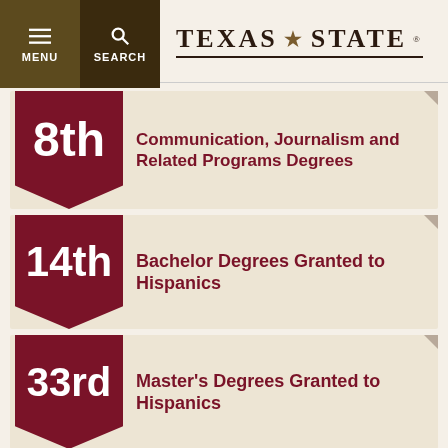MENU | SEARCH | TEXAS STATE
[Figure (infographic): 8th ranking badge ribbon in dark red/maroon with text: Communication, Journalism and Related Programs Degrees]
[Figure (infographic): 14th ranking badge ribbon in dark red/maroon with text: Bachelor Degrees Granted to Hispanics]
[Figure (infographic): 33rd ranking badge ribbon in dark red/maroon with text: Master's Degrees Granted to Hispanics]
Rankings were compiled using 2018-2019 data from the United States Department of Education and published in the October 2020 issue of Hispanic Outlook.